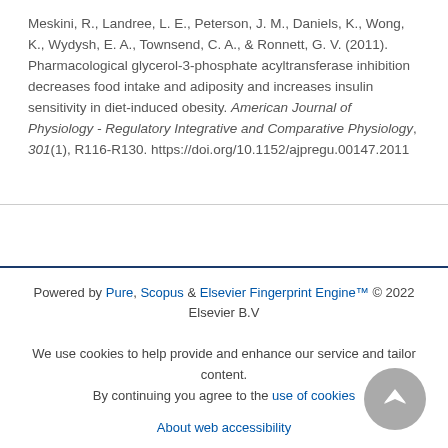Meskini, R., Landree, L. E., Peterson, J. M., Daniels, K., Wong, K., Wydysh, E. A., Townsend, C. A., & Ronnett, G. V. (2011). Pharmacological glycerol-3-phosphate acyltransferase inhibition decreases food intake and adiposity and increases insulin sensitivity in diet-induced obesity. American Journal of Physiology - Regulatory Integrative and Comparative Physiology, 301(1), R116-R130. https://doi.org/10.1152/ajpregu.00147.2011
Powered by Pure, Scopus & Elsevier Fingerprint Engine™ © 2022 Elsevier B.V
We use cookies to help provide and enhance our service and tailor content. By continuing you agree to the use of cookies
About web accessibility